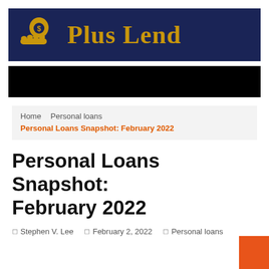[Figure (logo): Plus Lend logo: gold money bag with dollar sign on a dark navy blue background, with the text 'Plus Lend' in gold serif font]
[Figure (other): Black banner bar, possibly containing a navigation or advertisement image that is not visible]
Home   Personal loans   Personal Loans Snapshot: February 2022
Personal Loans Snapshot: February 2022
Stephen V. Lee   February 2, 2022   Personal loans